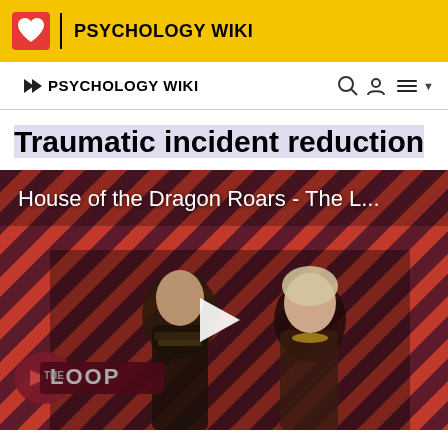PSYCHOLOGY WIKI
PSYCHOLOGY WIKI
Traumatic incident reduction
[Figure (screenshot): Video thumbnail for 'House of the Dragon Roars - The L...' showing two medieval fantasy characters against a diagonal red and dark stripe background, with a white play button in the center and 'THE LOOP' badge in the bottom left corner.]